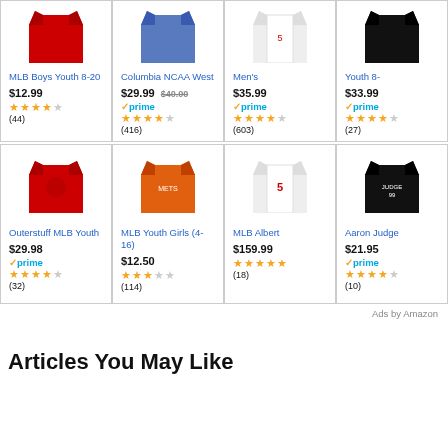[Figure (screenshot): Amazon product grid showing MLB and sports apparel items with prices and ratings]
Ads by Amazon
Articles You May Like